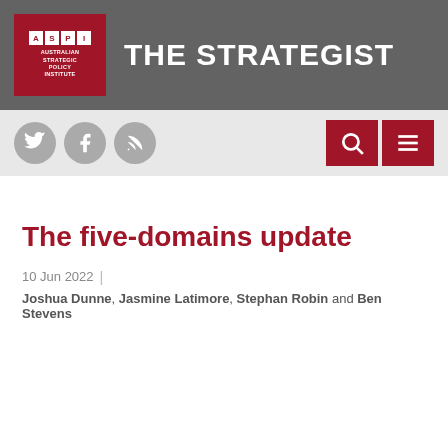ASPI | THE STRATEGIST
The five-domains update
10 Jun 2022 | Joshua Dunne, Jasmine Latimore, Stephan Robin and Ben Stevens